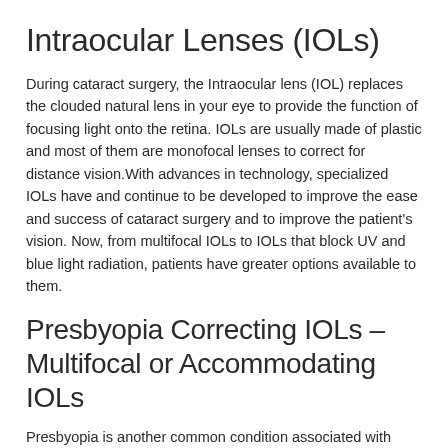Intraocular Lenses (IOLs)
During cataract surgery, the Intraocular lens (IOL) replaces the clouded natural lens in your eye to provide the function of focusing light onto the retina. IOLs are usually made of plastic and most of them are monofocal lenses to correct for distance vision.With advances in technology, specialized IOLs have and continue to be developed to improve the ease and success of cataract surgery and to improve the patient's vision. Now, from multifocal IOLs to IOLs that block UV and blue light radiation, patients have greater options available to them.
Presbyopia Correcting IOLs – Multifocal or Accommodating IOLs
Presbyopia is another common condition associated with aging, in which the eyes begin to have difficulty focusing on near objects. This condition makes it hard for people to read